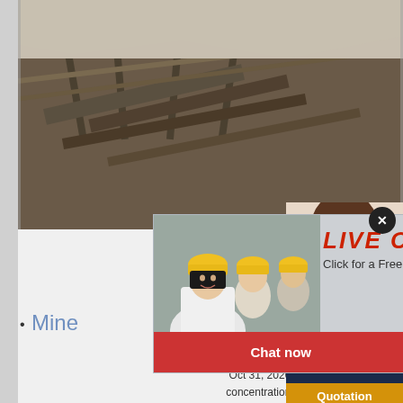[Figure (photo): Industrial mining/conveyor equipment aerial view photo]
[Figure (photo): Live Chat popup with workers in yellow hard hats and customer service representative; includes 'LIVE CHAT' heading, 'Click for a Free Consultation', 'Chat now' and 'Chat later' buttons]
[Figure (photo): Customer service woman with headset on right side panel]
ave any requests, click here.
Quotation
Enquiry
limingjlmofen@sina.com
Mine Concentration
Concentration
Oct 31, 2020 · Gravity concentration is at present the concentration process in the mineral industry in t... processed. The size that can be processed ranges f... materials, coarser than 100 mm, concentrated throu...
CHAT ONLINE